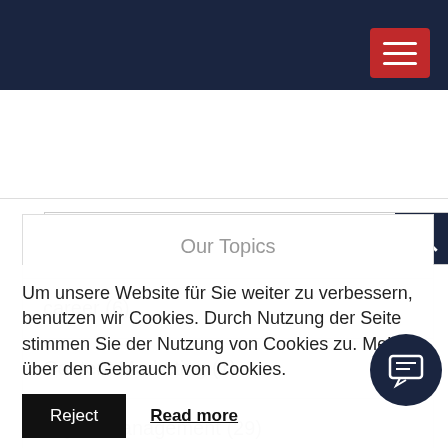[Figure (screenshot): Dark navy top navigation bar with hamburger menu button in red]
Search...
Our Topics
career (6)
Content Marketing (1)
Digital Management (29)
E-Commerce (8)
E-Commerce Marketing (20)
Entrepreneurship
Um unsere Website für Sie weiter zu verbessern, benutzen wir Cookies. Durch Nutzung der Seite stimmen Sie der Nutzung von Cookies zu. Mehr über den Gebrauch von Cookies.
Reject
Read more